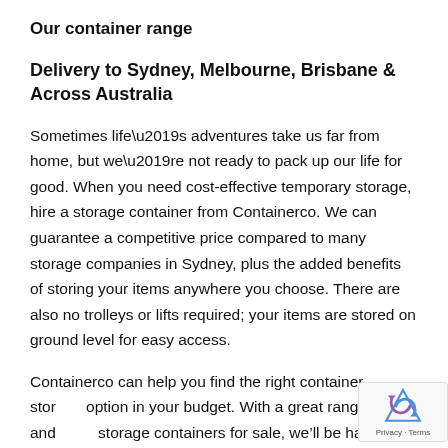Our container range
Delivery to Sydney, Melbourne, Brisbane & Across Australia
Sometimes life’s adventures take us far from home, but we’re not ready to pack up our life for good. When you need cost-effective temporary storage, hire a storage container from Containerco. We can guarantee a competitive price compared to many storage companies in Sydney, plus the added benefits of storing your items anywhere you choose. There are also no trolleys or lifts required; your items are stored on ground level for easy access.
Containerco can help you find the right container storage option in your budget. With a great range of new and used storage containers for sale, we’ll be happy to deliver it to